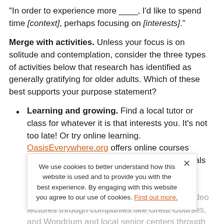“In order to experience more ____, I’d like to spend time [context], perhaps focusing on [interests].”
Merge with activities. Unless your focus is on solitude and contemplation, consider the three types of activities below that research has identified as generally gratifying for older adults. Which of these best supports your purpose statement?
Learning and growing. Find a local tutor or class for whatever it is that interests you. It’s not too late! Or try online learning. OasisEverywhere.org offers online courses specifically for older adults. National periodicals have Zoom sessions with opinion leaders. Accredited classes are offered by well-known universities through Coursera.org. Or view video lectures through companies like Great Courses, and Wondrium and local senior centers through Lifetime Learning groups.
Giving to others. One study of older voluntee...
We use cookies to better understand how this website is used and to provide you with the best experience. By engaging with this website you agree to our use of cookies. Find out more.